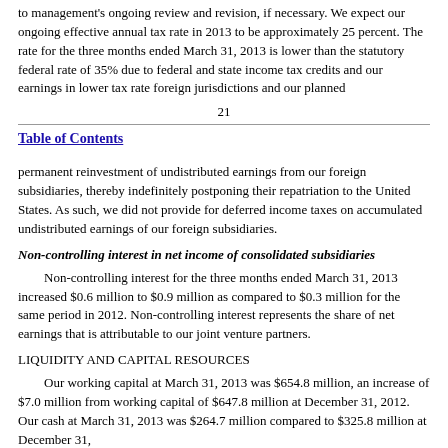to management's ongoing review and revision, if necessary. We expect our ongoing effective annual tax rate in 2013 to be approximately 25 percent. The rate for the three months ended March 31, 2013 is lower than the statutory federal rate of 35% due to federal and state income tax credits and our earnings in lower tax rate foreign jurisdictions and our planned
21
Table of Contents
permanent reinvestment of undistributed earnings from our foreign subsidiaries, thereby indefinitely postponing their repatriation to the United States. As such, we did not provide for deferred income taxes on accumulated undistributed earnings of our foreign subsidiaries.
Non-controlling interest in net income of consolidated subsidiaries
Non-controlling interest for the three months ended March 31, 2013 increased $0.6 million to $0.9 million as compared to $0.3 million for the same period in 2012. Non-controlling interest represents the share of net earnings that is attributable to our joint venture partners.
LIQUIDITY AND CAPITAL RESOURCES
Our working capital at March 31, 2013 was $654.8 million, an increase of $7.0 million from working capital of $647.8 million at December 31, 2012. Our cash at March 31, 2013 was $264.7 million compared to $325.8 million at December 31,